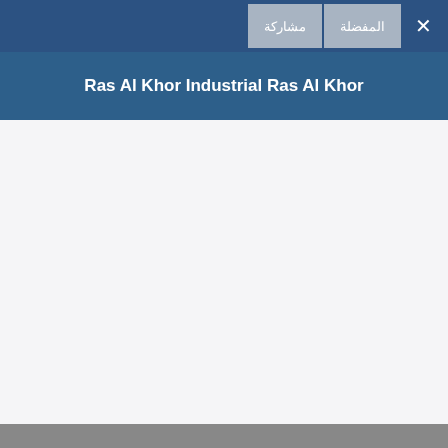مشاركة  المفضلة  ×
Ras Al Khor Industrial Ras Al Khor